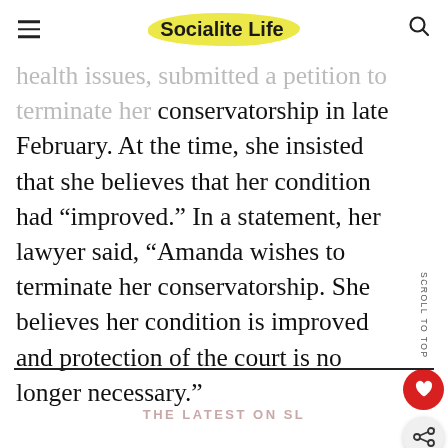Socialite Life
health issues, submitted a petition to terminate her conservatorship in late February. At the time, she insisted that she believes that her condition had “improved.” In a statement, her lawyer said, “Amanda wishes to terminate her conservatorship. She believes her condition is improved and protection of the court is no longer necessary.”
THE LATEST ON SL